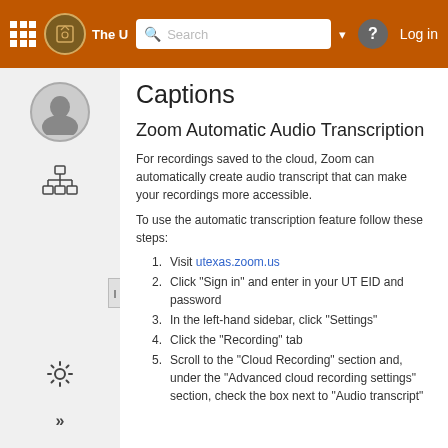The University [navigation bar with search, help, log in]
Captions
Zoom Automatic Audio Transcription
For recordings saved to the cloud, Zoom can automatically create audio transcript that can make your recordings more accessible.
To use the automatic transcription feature follow these steps:
1. Visit utexas.zoom.us
2. Click "Sign in" and enter in your UT EID and password
3. In the left-hand sidebar, click "Settings"
4. Click the "Recording" tab
5. Scroll to the "Cloud Recording" section and, under the "Advanced cloud recording settings" section, check the box next to "Audio transcript"